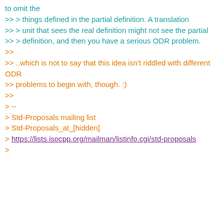to omit the
>> > things defined in the partial definition. A translation
>> > unit that sees the real definition might not see the partial
>> > definition, and then you have a serious ODR problem.
>>
>> ..which is not to say that this idea isn't riddled with different ODR
>> problems to begin with, though. :)
>>
> --
> Std-Proposals mailing list
> Std-Proposals_at_[hidden]
> https://lists.isocpp.org/mailman/listinfo.cgi/std-proposals
>